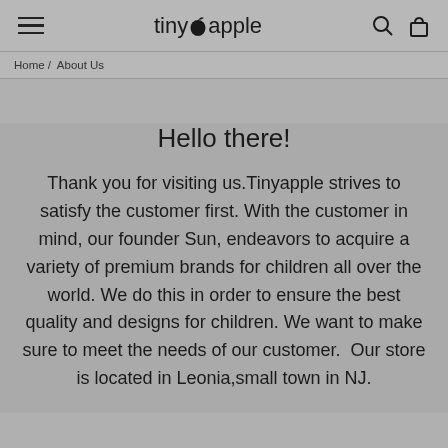tiny apple
Home / About Us
Hello there!
Thank you for visiting us.Tinyapple strives to satisfy the customer first. With the customer in mind, our founder Sun, endeavors to acquire a variety of premium brands for children all over the world. We do this in order to ensure the best quality and designs for children. We want to make sure to meet the needs of our customer.  Our store is located in Leonia,small town in NJ.